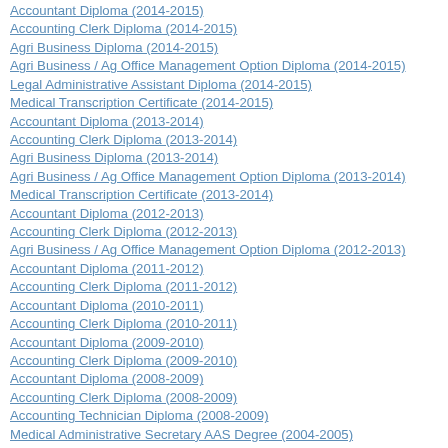Accountant Diploma (2014-2015)
Accounting Clerk Diploma (2014-2015)
Agri Business Diploma (2014-2015)
Agri Business / Ag Office Management Option Diploma (2014-2015)
Legal Administrative Assistant Diploma (2014-2015)
Medical Transcription Certificate (2014-2015)
Accountant Diploma (2013-2014)
Accounting Clerk Diploma (2013-2014)
Agri Business Diploma (2013-2014)
Agri Business / Ag Office Management Option Diploma (2013-2014)
Medical Transcription Certificate (2013-2014)
Accountant Diploma (2012-2013)
Accounting Clerk Diploma (2012-2013)
Agri Business / Ag Office Management Option Diploma (2012-2013)
Accountant Diploma (2011-2012)
Accounting Clerk Diploma (2011-2012)
Accountant Diploma (2010-2011)
Accounting Clerk Diploma (2010-2011)
Accountant Diploma (2009-2010)
Accounting Clerk Diploma (2009-2010)
Accountant Diploma (2008-2009)
Accounting Clerk Diploma (2008-2009)
Accounting Technician Diploma (2008-2009)
Medical Administrative Secretary AAS Degree (2004-2005)
Medical Administrative Secretary Diploma (2004-2005)